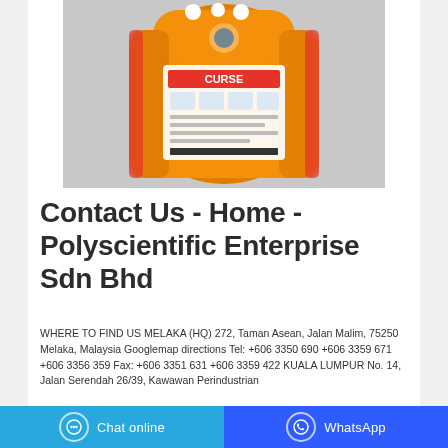[Figure (photo): Orange bag of cleaning product (CURSE brand) with usage instructions and barcode, photographed against a light grey background]
Contact Us - Home - Polyscientific Enterprise Sdn Bhd
WHERE TO FIND US MELAKA (HQ) 272, Taman Asean, Jalan Malim, 75250 Melaka, Malaysia Googlemap directions Tel: +606 3350 690 +606 3359 671 +606 3356 359 Fax: +606 3351 631 +606 3359 422 KUALA LUMPUR No. 14, Jalan Serendah 26/39, Kawawan Perindustrian
Chat online | WhatsApp